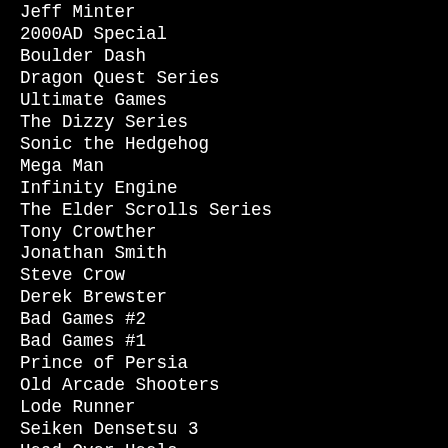Jeff Minter
2000AD Special
Boulder Dash
Dragon Quest Series
Ultimate Games
The Dizzy Series
Sonic the Hedgehog
Mega Man
Infinity Engine
The Elder Scrolls Series
Tony Crowther
Jonathan Smith
Steve Crow
Derek Brewster
Bad Games #2
Bad Games #1
Prince of Persia
Old Arcade Shooters
Lode Runner
Seiken Densetsu 3
Head Over Heels
Games Beginning With ‘B’
Games Beginning With ‘A’